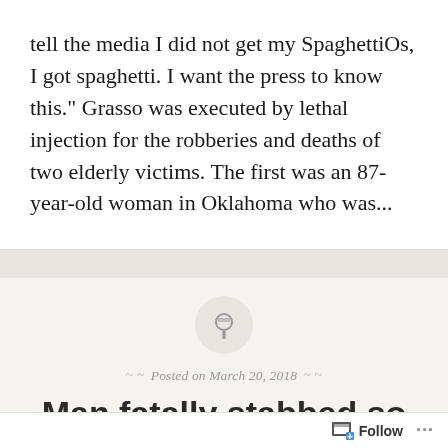tell the media I did not get my SpaghettiOs, I got spaghetti. I want the press to know this." Grasso was executed by lethal injection for the robberies and deaths of two elderly victims. The first was an 87-year-old woman in Oklahoma who was...
[Figure (illustration): A circular grey pin/thumbtack icon on a light beige background, used as a post thumbnail]
Posted on March 20, 2018
Man fatally stabbed so attacker could dissuade